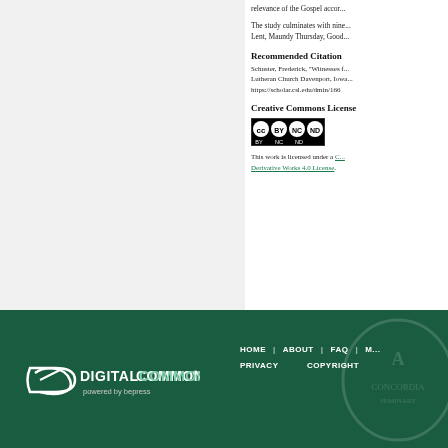relevance of the Gospel accor...
The study culminates with nine... Lent, Maundy Thursday, Good...
Recommended Citation
Schuster, Frederick, "Witnesses f... Lutheran Church Davenport, Iowa... https://scholar.csl.edu/dmin/166
Creative Commons License
[Figure (logo): Creative Commons BY-NC-ND license badge]
This work is licensed under a Creative Commons Attribution-NonCommercial-No Derivative Works 4.0 License.
[Figure (logo): Digital Commons powered by bepress logo in footer]
HOME | ABOUT | FAQ | M... PRIVACY COPYRIGHT